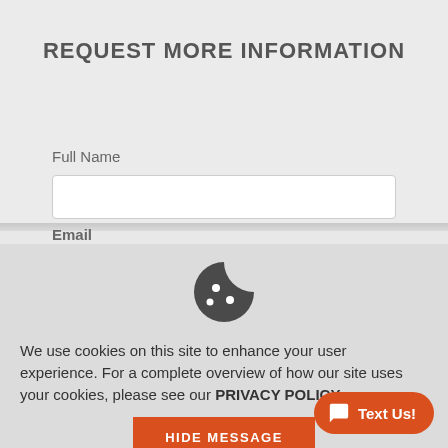REQUEST MORE INFORMATION
Full Name
Email
[Figure (illustration): Cookie icon — a cookie with a bite taken out and three dots/chips on it, rendered as a dark gray silhouette.]
We use cookies on this site to enhance your user experience. For a complete overview of how our site uses your cookies, please see our PRIVACY POLICY.
HIDE MESSAGE
Text Us!